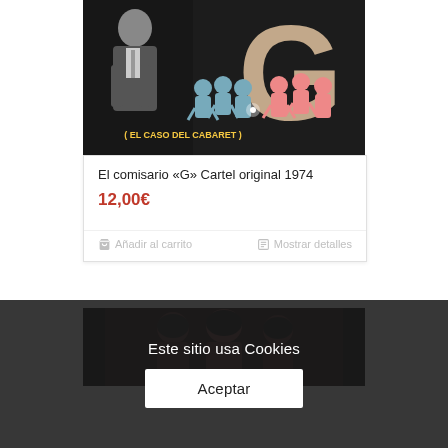[Figure (photo): Movie poster for El comisario G (El caso del cabaret) 1974, showing a man in a suit on the left, large letter G in background, and colorful silhouettes of cabaret dancers]
El comisario «G» Cartel original 1974
12,00€
🛒 Añadir al carrito
🗒 Mostrar detalles
[Figure (photo): Partial view of another movie or product poster showing people]
Este sitio usa Cookies
Aceptar